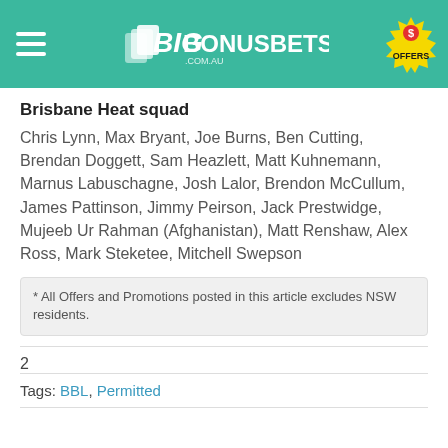BigBonusBets.com.au
Brisbane Heat squad
Chris Lynn, Max Bryant, Joe Burns, Ben Cutting, Brendan Doggett, Sam Heazlett, Matt Kuhnemann, Marnus Labuschagne, Josh Lalor, Brendon McCullum, James Pattinson, Jimmy Peirson, Jack Prestwidge, Mujeeb Ur Rahman (Afghanistan), Matt Renshaw, Alex Ross, Mark Steketee, Mitchell Swepson
* All Offers and Promotions posted in this article excludes NSW residents.
2
Tags: BBL, Permitted